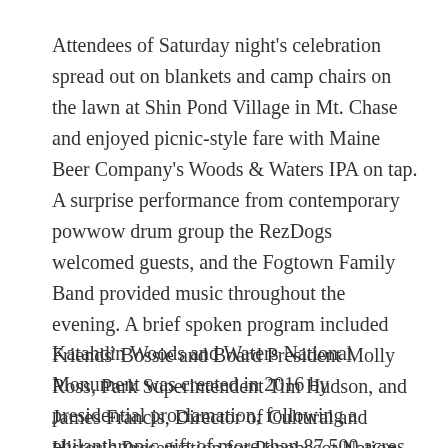Attendees of Saturday night's celebration spread out on blankets and camp chairs on the lawn at Shin Pond Village in Mt. Chase and enjoyed picnic-style fare with Maine Beer Company's Woods & Waters IPA on tap. A surprise performance from contemporary powwow drum group the RezDogs welcomed guests, and the Fogtown Family Band provided music throughout the evening. A brief spoken program included Friends' Bossie and Board President Molly Ross, Park Superintendent Tim Hudson, and James Francis, Director of Cultural and Historic Preservation for Penobscot Nation.
Katahdin Woods and Waters National Monument was created in 2016 by presidential proclamation, following a philanthropic gift of more than 87,500 acres to the United States. Five years after Roxanne